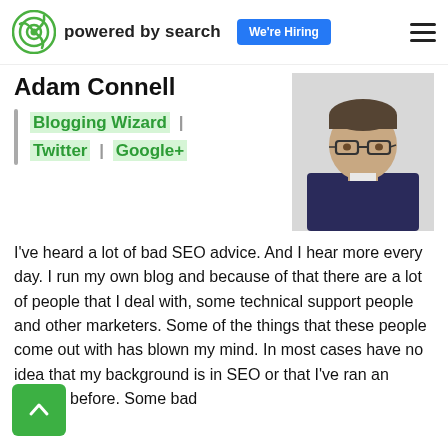powered by search | We're Hiring
Adam Connell
[Figure (other): Author profile photo of Adam Connell, a man with glasses wearing a dark shirt against a light background]
Blogging Wizard | Twitter | Google+
I've heard a lot of bad SEO advice. And I hear more every day. I run my own blog and because of that there are a lot of people that I deal with, some technical support people and other marketers. Some of the things that these people come out with has blown my mind. In most cases have no idea that my background is in SEO or that I've ran an agency before. Some bad